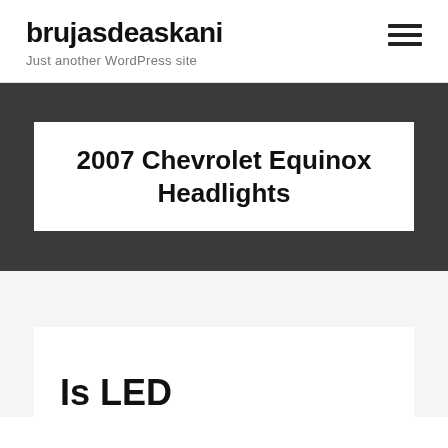brujasdeaskani
Just another WordPress site
2007 Chevrolet Equinox Headlights
Is LED